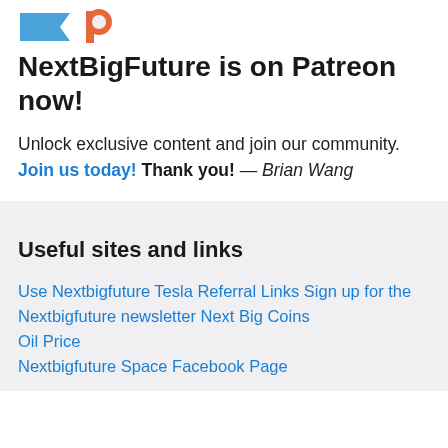[Figure (logo): NextBigFuture and Patreon logo marks partially visible at top]
NextBigFuture is on Patreon now!
Unlock exclusive content and join our community. Join us today! Thank you! — Brian Wang
Useful sites and links
Use Nextbigfuture Tesla Referral Links Sign up for the Nextbigfuture newsletter Next Big Coins
Oil Price
Nextbigfuture Space Facebook Page